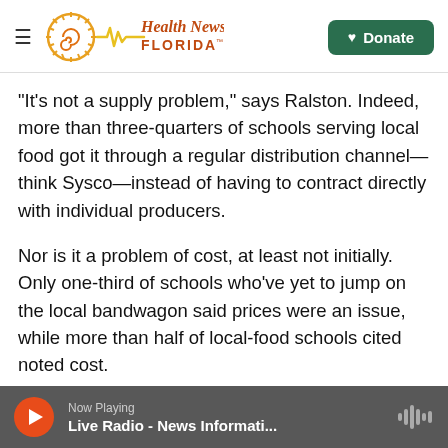Health News Florida — Donate
"It's not a supply problem," says Ralston. Indeed, more than three-quarters of schools serving local food got it through a regular distribution channel—think Sysco—instead of having to contract directly with individual producers.
Nor is it a problem of cost, at least not initially. Only one-third of schools who've yet to jump on the local bandwagon said prices were an issue, while more than half of local-food schools cited noted cost.
The biggest barriers to going local, says Ralston —
Now Playing — Live Radio - News Informati...